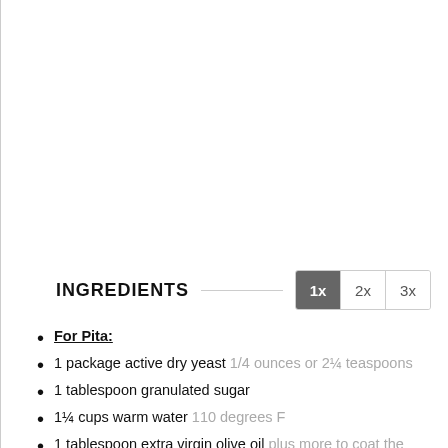INGREDIENTS
For Pita:
1 package active dry yeast 1/4 ounces or 2¼ teaspoons
1 tablespoon granulated sugar
1¼ cups warm water 110 degrees F
1 tablespoon extra virgin olive oil plus more to coat the bowl
2 cups whole wheat flour